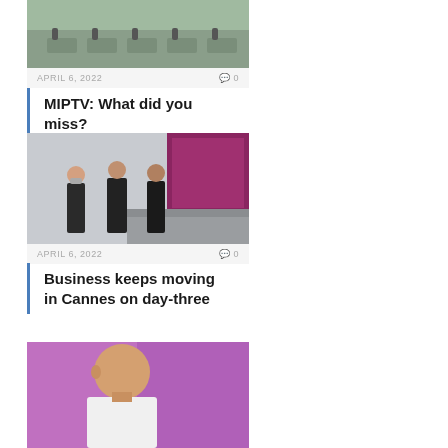[Figure (photo): Outdoor event with audience at tables, aerial/wide shot]
APRIL 6, 2022   0
MIPTV: What did you miss?
[Figure (photo): Three people in black clothes standing outside building with signage]
APRIL 6, 2022   0
Business keeps moving in Cannes on day-three
[Figure (photo): Bald man speaking on stage with purple/pink background]